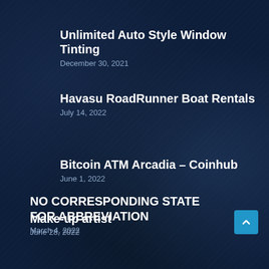Unlimited Auto Style Window Tinting
December 30, 2021
Havasu RoadRunner Boat Rentals
July 14, 2022
Bitcoin ATM Arcadia – Coinhub
June 1, 2022
Make-up artist
June 28, 2022
NO CORRESPONDING STATE FOR ABBREVIATION
March 4, 2022